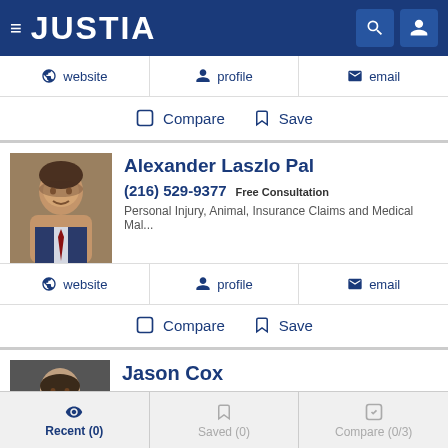JUSTIA
website | profile | email
Compare  Save
Alexander Laszlo Pal
(216) 529-9377  Free Consultation
Personal Injury, Animal, Insurance Claims and Medical Mal...
website | profile | email
Compare  Save
Jason Cox
(800) 274-5297  Free Consultation
Personal Injury, Employment, Medical Malpractice and Pro...
Recent (0)  Saved (0)  Compare (0/3)